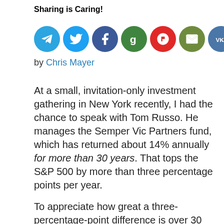Sharing is Caring!
[Figure (illustration): Row of eight social share icon circles: Telegram (blue), Twitter (light blue), Facebook (dark blue), Goodreads/G (green), Flipboard/f (red), Email envelope (olive green), VK (steel blue), Share (orange)]
by Chris Mayer
At a small, invitation-only investment gathering in New York recently, I had the chance to speak with Tom Russo. He manages the Semper Vic Partners fund, which has returned about 14% annually for more than 30 years. That tops the S&P 500 by more than three percentage points per year.
To appreciate how great a three-percentage-point difference is over 30